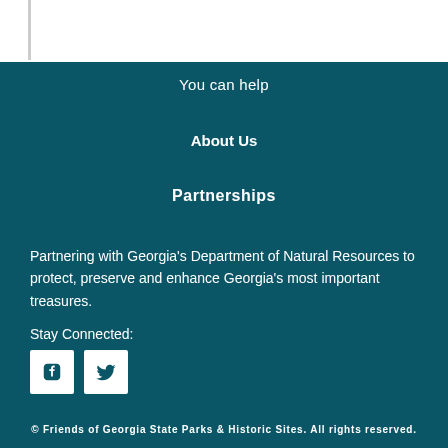You can help
About Us
Partnerships
Partnering with Georgia's Department of Natural Resources to protect, preserve and enhance Georgia's most important treasures.
Stay Connected:
[Figure (other): Facebook and Twitter social media icon buttons (white square icons with teal social media logos)]
© Friends of Georgia State Parks & Historic Sites. All rights reserved.